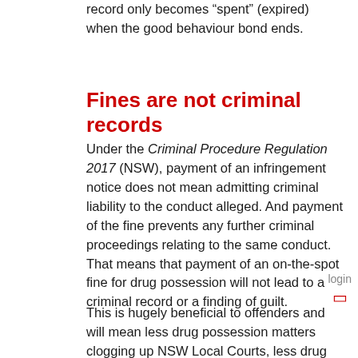record only becomes “spent” (expired) when the good behaviour bond ends.
Fines are not criminal records
Under the Criminal Procedure Regulation 2017 (NSW), payment of an infringement notice does not mean admitting criminal liability to the conduct alleged. And payment of the fine prevents any further criminal proceedings relating to the same conduct. That means that payment of an on-the-spot fine for drug possession will not lead to a criminal record or a finding of guilt.
This is hugely beneficial to offenders and will mean less drug possession matters clogging up NSW Local Courts, less drug offenders